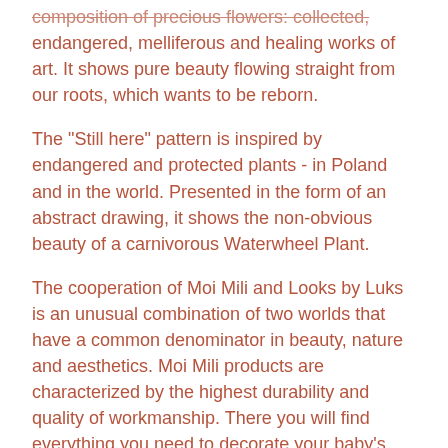composition of precious flowers: collected, endangered, melliferous and healing works of art. It shows pure beauty flowing straight from our roots, which wants to be reborn.
The "Still here" pattern is inspired by endangered and protected plants - in Poland and in the world. Presented in the form of an abstract drawing, it shows the non-obvious beauty of a carnivorous Waterwheel Plant.
The cooperation of Moi Mili and Looks by Luks is an unusual combination of two worlds that have a common denominator in beauty, nature and aesthetics. Moi Mili products are characterized by the highest durability and quality of workmanship. There you will find everything you need to decorate your baby's room.
Looks by Luks is a brand created for consumers who appreciate unique, one-of-a-kind products in their interior.